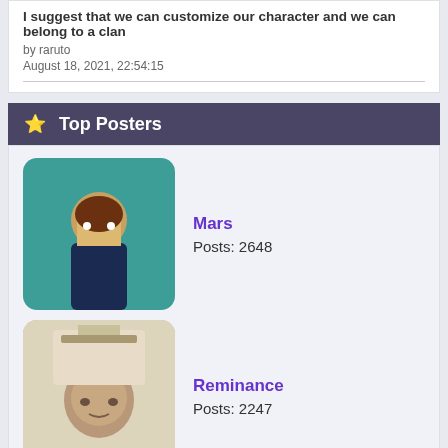I suggest that we can customize our character and we can belong to a clan
by raruto
August 18, 2021, 22:54:15
⭐ Top Posters
Mars
Posts: 2648
Reminance
Posts: 2247
Shivraj
Posts: 1610
m4r1us
Posts: 1298